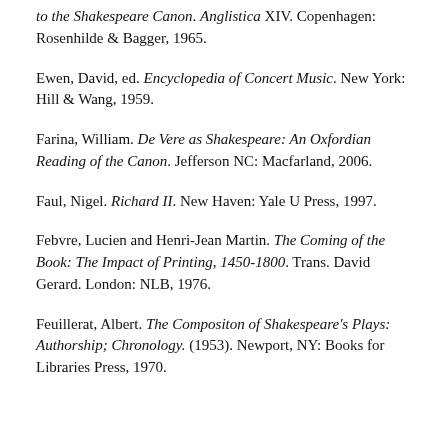to the Shakespeare Canon. Anglistica XIV. Copenhagen: Rosenhilde & Bagger, 1965.
Ewen, David, ed. Encyclopedia of Concert Music. New York: Hill & Wang, 1959.
Farina, William. De Vere as Shakespeare: An Oxfordian Reading of the Canon. Jefferson NC: Macfarland, 2006.
Faul, Nigel. Richard II. New Haven: Yale U Press, 1997.
Febvre, Lucien and Henri-Jean Martin. The Coming of the Book: The Impact of Printing, 1450-1800. Trans. David Gerard. London: NLB, 1976.
Feuillerat, Albert. The Compositon of Shakespeare's Plays: Authorship; Chronology. (1953). Newport, NY: Books for Libraries Press, 1970.